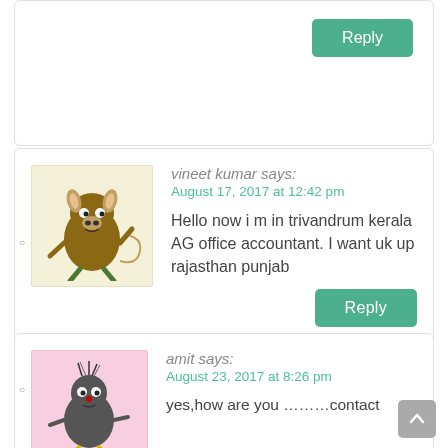Reply
vineet kumar says:
August 17, 2017 at 12:42 pm
Hello now i m in trivandrum kerala AG office accountant. I want uk up rajasthan punjab
Reply
amit says:
August 23, 2017 at 8:26 pm
yes,how are you ………contact